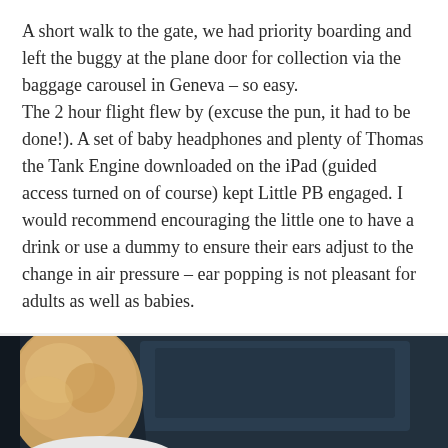A short walk to the gate, we had priority boarding and left the buggy at the plane door for collection via the baggage carousel in Geneva – so easy.
The 2 hour flight flew by (excuse the pun, it had to be done!). A set of baby headphones and plenty of Thomas the Tank Engine downloaded on the iPad (guided access turned on of course) kept Little PB engaged. I would recommend encouraging the little one to have a drink or use a dummy to ensure their ears adjust to the change in air pressure – ear popping is not pleasant for adults as well as babies.
[Figure (photo): Photo showing a young child with blonde hair in what appears to be a car or plane seat, dark upholstery visible]